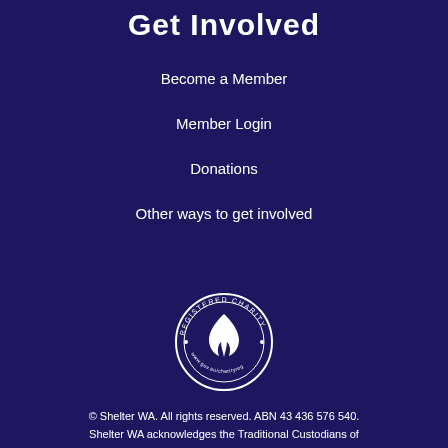Get Involved
Become a Member
Member Login
Donations
Other ways to get involved
[Figure (logo): Registered Charity logo — circular seal with a flame/shield symbol, text reading REGISTERED CHARITY and www.gov.au/charitypegister]
© Shelter WA. All rights reserved. ABN 43 436 576 540. Shelter WA acknowledges the Traditional Custodians of